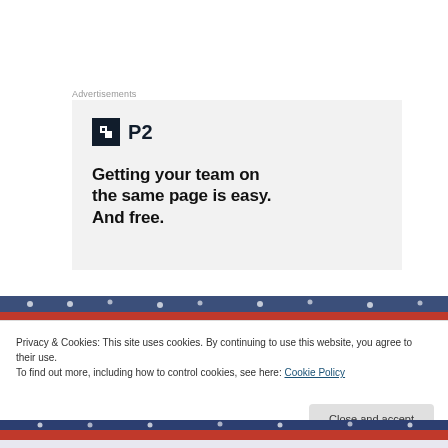Advertisements
[Figure (illustration): P2 advertisement: logo with dark square icon and 'P2' text, headline 'Getting your team on the same page is easy. And free.' on light gray background]
[Figure (photo): Patriotic red, white, and blue decorations with stars and stripes pattern — top strip]
Privacy & Cookies: This site uses cookies. By continuing to use this website, you agree to their use.
To find out more, including how to control cookies, see here: Cookie Policy
[Figure (photo): Patriotic red, white, and blue decorations with stars and stripes pattern — bottom strip]